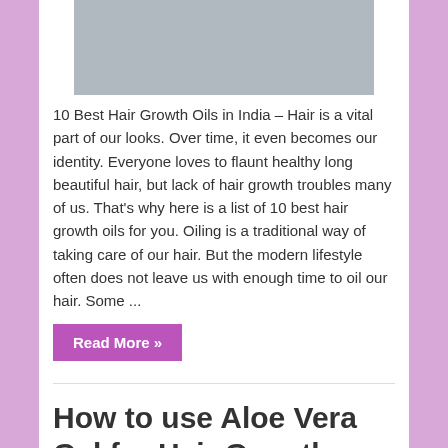[Figure (other): Gray advertisement placeholder image at top]
10 Best Hair Growth Oils in India – Hair is a vital part of our looks. Over time, it even becomes our identity. Everyone loves to flaunt healthy long beautiful hair, but lack of hair growth troubles many of us. That's why here is a list of 10 best hair growth oils for you. Oiling is a traditional way of taking care of our hair. But the modern lifestyle often does not leave us with enough time to oil our hair. Some ...
Read More »
How to use Aloe Vera Gel for Hair Growth – 14 Simple Instruction
Kiran Raj Singh   1 Comment
[Figure (other): Gray advertisement placeholder image at bottom]